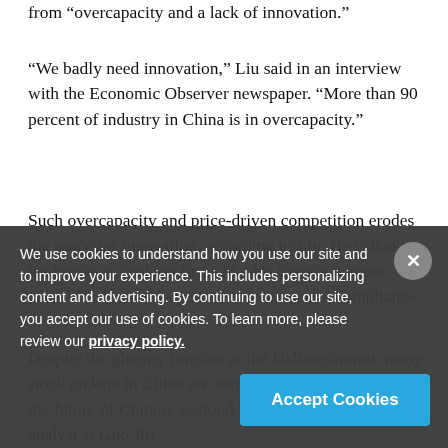from “overcapacity and a lack of innovation.”
“We badly need innovation,” Liu said in an interview with the Economic Observer newspaper. “More than 90 percent of industry in China is in overcapacity.”
Such overcapacity and price-driven competition erodes the space for innovation, according to Liu. He called for tax breaks to cushion firms like his from new costs – in particular, higher wages and environmental compliance.
Despite the gloomy forecast at the Dalian summit, many stock pickers in China are surprisingly optimistic about the future of Chinese seafood firms. Wu Jing Cao, an analyst at Guo Jin
We use cookies to understand how you use our site and to improve your experience. This includes personalizing content and advertising. By continuing to use our site, you accept our use of cookies. To learn more, please review our privacy policy.